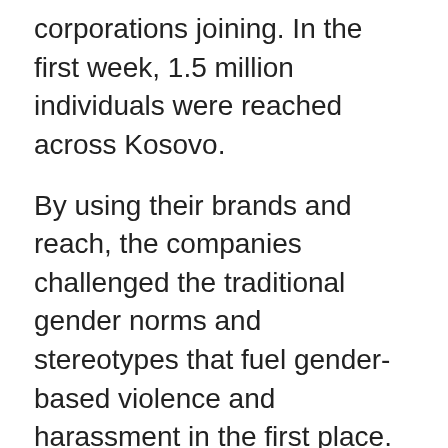corporations joining. In the first week, 1.5 million individuals were reached across Kosovo.
By using their brands and reach, the companies challenged the traditional gender norms and stereotypes that fuel gender-based violence and harassment in the first place.
As part of the global campaign against gender-based violence, the participating companies disseminated information on gender-based violence through their own communication channels. Special emphasis was given to providing the hotline phone numbers for reporting cases of gender-based or domestic violence. In this regard,